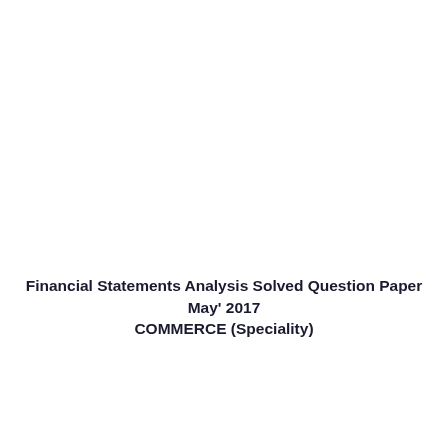Financial Statements Analysis Solved Question Paper May' 2017 COMMERCE (Speciality)